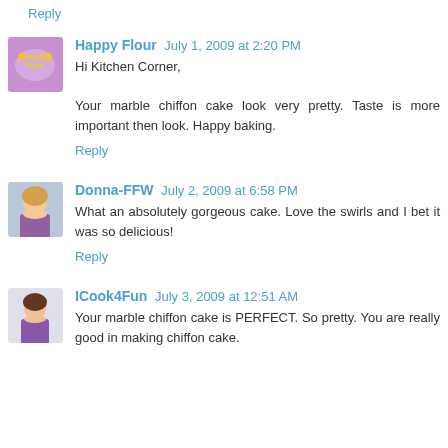Reply
Happy Flour  July 1, 2009 at 2:20 PM
Hi Kitchen Corner,

Your marble chiffon cake look very pretty. Taste is more important then look. Happy baking.
Reply
Donna-FFW  July 2, 2009 at 6:58 PM
What an absolutely gorgeous cake. Love the swirls and I bet it was so delicious!
Reply
ICook4Fun  July 3, 2009 at 12:51 AM
Your marble chiffon cake is PERFECT. So pretty. You are really good in making chiffon cake.